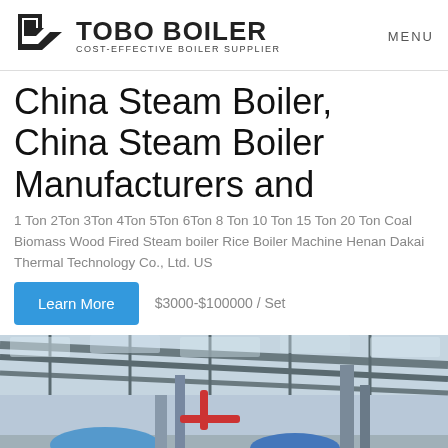TOBO BOILER COST-EFFECTIVE BOILER SUPPLIER MENU
China Steam Boiler, China Steam Boiler Manufacturers and
1 Ton 2Ton 3Ton 4Ton 5Ton 6Ton 8 Ton 10 Ton 15 Ton 20 Ton Coal Biomass Wood Fired Steam boiler Rice Boiler Machine Henan Dakai Thermal Technology Co., Ltd. US $3000-$100000 / Set
Learn More
[Figure (photo): Industrial boiler facility interior showing blue boiler equipment, pipes, and metal roof structure]